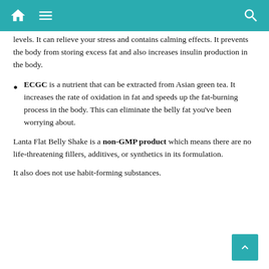levels. It can relieve your stress and contains calming effects. It prevents the body from storing excess fat and also increases insulin production in the body.
ECGC is a nutrient that can be extracted from Asian green tea. It increases the rate of oxidation in fat and speeds up the fat-burning process in the body. This can eliminate the belly fat you've been worrying about.
Lanta Flat Belly Shake is a non-GMP product which means there are no life-threatening fillers, additives, or synthetics in its formulation.
It also does not use habit-forming substances.